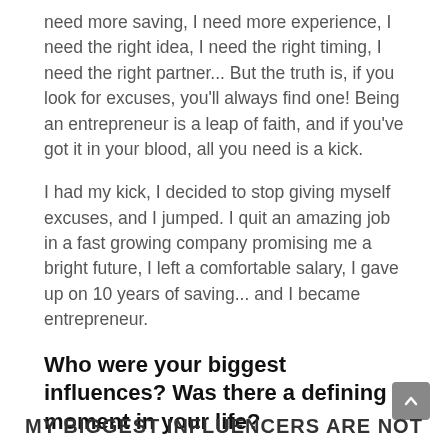need more saving, I need more experience, I need the right idea, I need the right timing, I need the right partner... But the truth is, if you look for excuses, you'll always find one! Being an entrepreneur is a leap of faith, and if you've got it in your blood, all you need is a kick.
I had my kick, I decided to stop giving myself excuses, and I jumped. I quit an amazing job in a fast growing company promising me a bright future, I left a comfortable salary, I gave up on 10 years of saving... and I became entrepreneur.
Who were your biggest influences? Was there a defining moment in your life?
MY BIGGEST INFLUENCERS ARE NOT